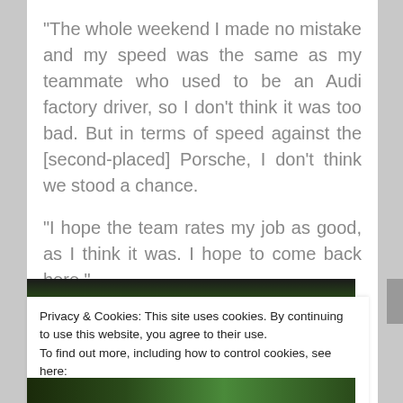“The whole weekend I made no mistake and my speed was the same as my teammate who used to be an Audi factory driver, so I don’t think it was too bad. But in terms of speed against the [second-placed] Porsche, I don’t think we stood a chance.
“I hope the team rates my job as good, as I think it was. I hope to come back here.”
[Figure (photo): Partial view of a racing car on a green track, partially obscured by the cookie banner overlay]
Privacy & Cookies: This site uses cookies. By continuing to use this website, you agree to their use.
To find out more, including how to control cookies, see here:
Cookie Policy
Close and accept